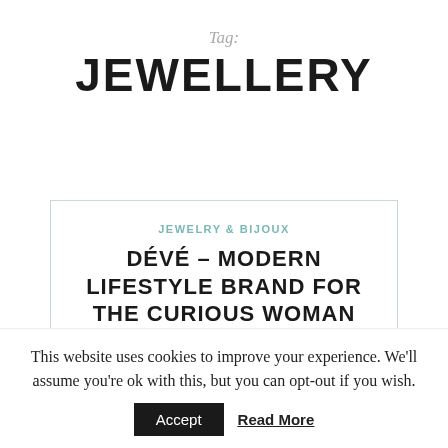Tag:
JEWELLERY
JEWELRY & BIJOUX
DÉVÉ – MODERN LIFESTYLE BRAND FOR THE CURIOUS WOMAN
April 4, 2022  by Federica
This website uses cookies to improve your experience. We'll assume you're ok with this, but you can opt-out if you wish.
Accept  Read More